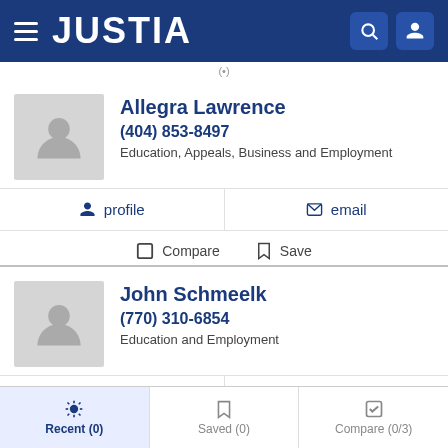JUSTIA
(•)
Allegra Lawrence
(404) 853-8497
Education, Appeals, Business and Employment
profile  email
Compare  Save
John Schmeelk
(770) 310-6854
Education and Employment
profile  email
Recent (0)  Saved (0)  Compare (0/3)